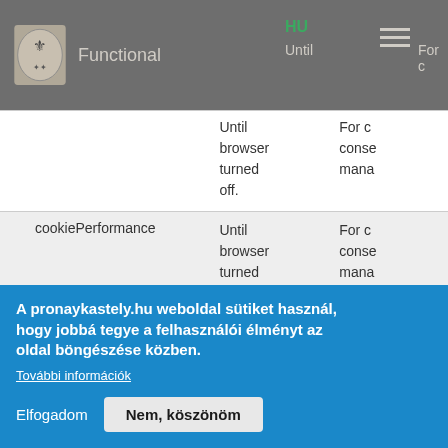Functional | HU | Until | For c
|  | Until browser turned off. | For c mana |
| cookiePerformance | Until browser turned off. | For c mana |
| cookieSession | Until | For c |
A pronaykastely.hu weboldal sütiket használ, hogy jobbá tegye a felhasználói élményt az oldal böngészése közben.
További információk
Elfogadom    Nem, köszönöm